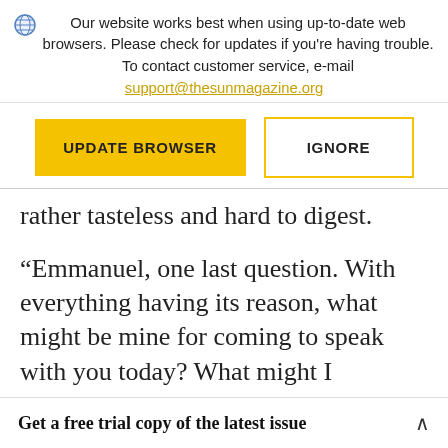Our website works best when using up-to-date web browsers. Please check for updates if you're having trouble. To contact customer service, e-mail support@thesunmagazine.org
[Figure (screenshot): Two buttons: a yellow filled 'UPDATE BROWSER' button and a yellow-outlined 'IGNORE' button]
rather tasteless and hard to digest.
“Emmanuel, one last question. With everything having its reason, what might be mine for coming to speak with you today? What might I
Get a free trial copy of the latest issue